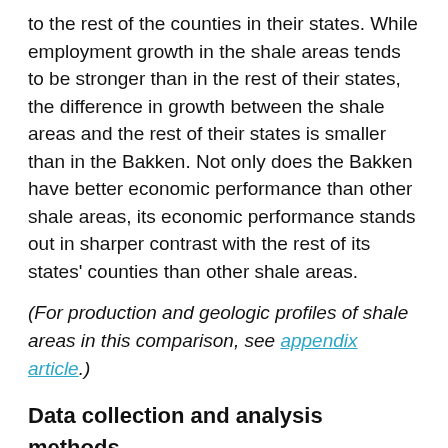to the rest of the counties in their states. While employment growth in the shale areas tends to be stronger than in the rest of their states, the difference in growth between the shale areas and the rest of their states is smaller than in the Bakken. Not only does the Bakken have better economic performance than other shale areas, its economic performance stands out in sharper contrast with the rest of its states' counties than other shale areas.
(For production and geologic profiles of shale areas in this comparison, see appendix article.)
Data collection and analysis methods
References to the Bakken area include the Three Forks formation, which in large part is just underneath the Bakken formation. The Minneapolis Fed defines the